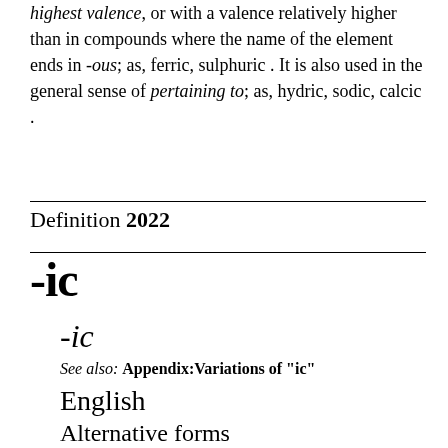highest valence, or with a valence relatively higher than in compounds where the name of the element ends in -ous; as, ferric, sulphuric . It is also used in the general sense of pertaining to; as, hydric, sodic, calcic .
Definition 2022
-ic
-ic
See also: Appendix:Variations of "ic"
English
Alternative forms